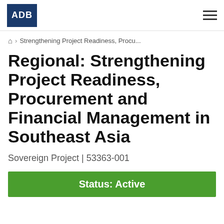ADB
⌂ › Strengthening Project Readiness, Procu...
Regional: Strengthening Project Readiness, Procurement and Financial Management in Southeast Asia
Sovereign Project | 53363-001
Status: Active